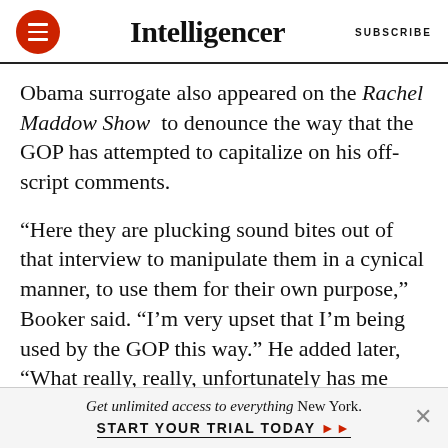Intelligencer | SUBSCRIBE
Obama surrogate also appeared on the Rachel Maddow Show to denounce the way that the GOP has attempted to capitalize on his off-script comments.
“Here they are plucking sound bites out of that interview to manipulate them in a cynical manner, to use them for their own purpose,” Booker said. “I’m very upset that I’m being used by the GOP this way.” He added later, “What really, really, unfortunately has me frustrated, is that not only
Get unlimited access to everything New York. START YOUR TRIAL TODAY »»